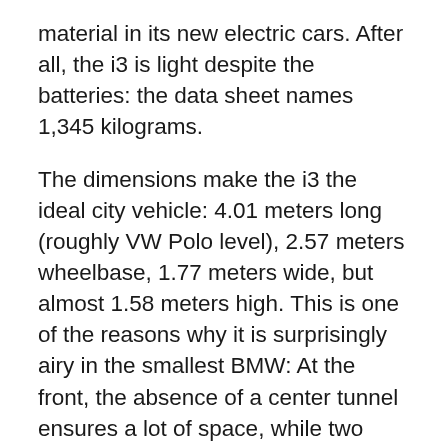material in its new electric cars. After all, the i3 is light despite the batteries: the data sheet names 1,345 kilograms.
The dimensions make the i3 the ideal city vehicle: 4.01 meters long (roughly VW Polo level), 2.57 meters wheelbase, 1.77 meters wide, but almost 1.58 meters high. This is one of the reasons why it is surprisingly airy in the smallest BMW: At the front, the absence of a center tunnel ensures a lot of space, while two passengers can be accommodated at the rear without any need. Because of the batteries in the bottom, you sit high in the i3. One may find that good, the other may find it too high.
First of all, the wide distance between the